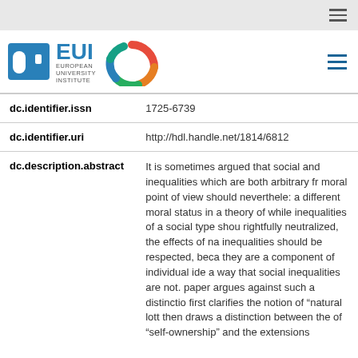[Figure (logo): EUI European University Institute logo with colorful C emblem]
| Field | Value |
| --- | --- |
| dc.identifier.issn | 1725-6739 |
| dc.identifier.uri | http://hdl.handle.net/1814/6812 |
| dc.description.abstract | It is sometimes argued that social and inequalities which are both arbitrary from a moral point of view should nevertheless have a different moral status in a theory of justice: while inequalities of a social type should be rightfully neutralized, the effects of natural inequalities should be respected, because they are a component of individual identity in a way that social inequalities are not. This paper argues against such a distinction. It first clarifies the notion of "natural lottery" then draws a distinction between the notion of "self-ownership" and the extensions |